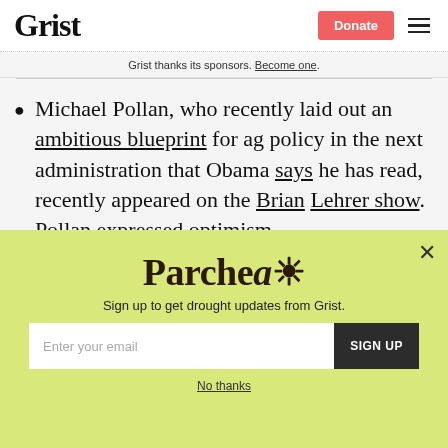Grist
Grist thanks its sponsors. Become one.
Michael Pollan, who recently laid out an ambitious blueprint for ag policy in the next administration that Obama says he has read, recently appeared on the Brian Lehrer show. Pollan expressed optimism...
Parchea
Sign up to get drought updates from Grist.
No thanks